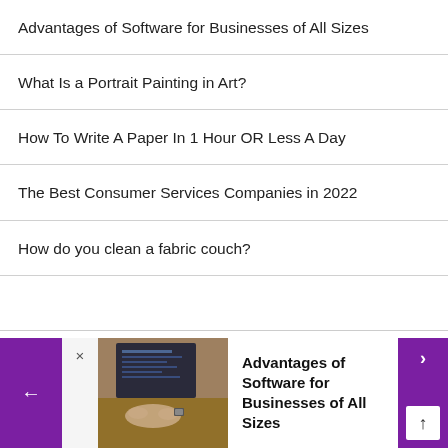Advantages of Software for Businesses of All Sizes
What Is a Portrait Painting in Art?
How To Write A Paper In 1 Hour OR Less A Day
The Best Consumer Services Companies in 2022
How do you clean a fabric couch?
[Figure (screenshot): Bottom navigation card showing a thumbnail of hands typing on a laptop, with purple left/right navigation buttons, a close X button, and the article title 'Advantages of Software for Businesses of All Sizes' in bold, plus an up-arrow button.]